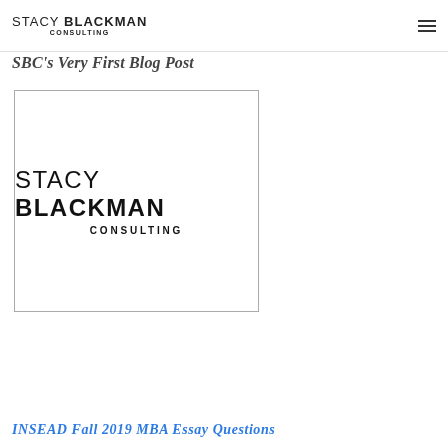STACY BLACKMAN CONSULTING
SBC's Very First Blog Post
[Figure (logo): Stacy Blackman Consulting logo — company name in large sans-serif type with STACY in light weight and BLACKMAN in bold, and CONSULTING in spaced capitals below]
INSEAD Fall 2019 MBA Essay Questions